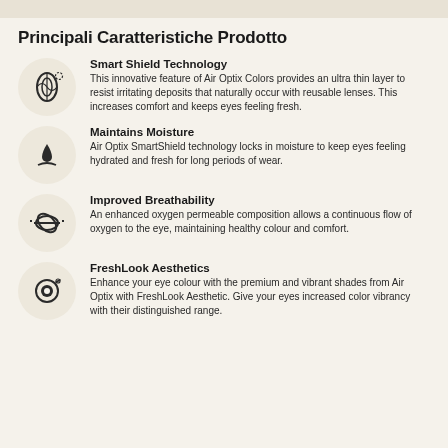Principali Caratteristiche Prodotto
Smart Shield Technology
This innovative feature of Air Optix Colors provides an ultra thin layer to resist irritating deposits that naturally occur with reusable lenses. This increases comfort and keeps eyes feeling fresh.
Maintains Moisture
Air Optix SmartShield technology locks in moisture to keep eyes feeling hydrated and fresh for long periods of wear.
Improved Breathability
An enhanced oxygen permeable composition allows a continuous flow of oxygen to the eye, maintaining healthy colour and comfort.
FreshLook Aesthetics
Enhance your eye colour with the premium and vibrant shades from Air Optix with FreshLook Aesthetic. Give your eyes increased color vibrancy with their distinguished range.